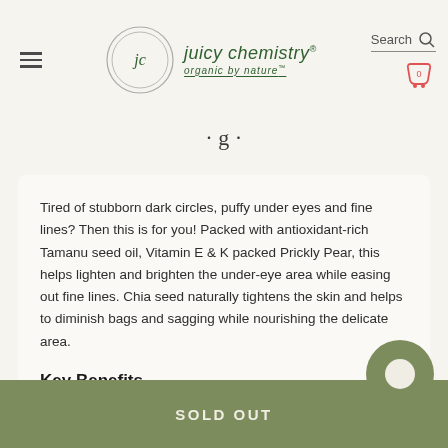Juicy Chemistry - organic by nature
Tired of stubborn dark circles, puffy under eyes and fine lines? Then this is for you! Packed with antioxidant-rich Tamanu seed oil, Vitamin E & K packed Prickly Pear, this helps lighten and brighten the under-eye area while easing out fine lines. Chia seed naturally tightens the skin and helps to diminish bags and sagging while nourishing the delicate area.
Key Benefits -
Helps reduce under-eye circles and puffiness.
SOLD OUT